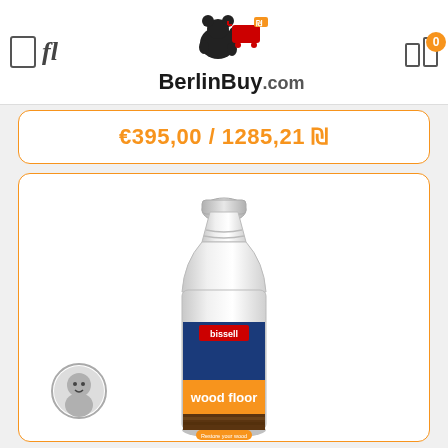[Figure (logo): BerlinBuy.com logo with bear and shopping cart, navigation icons on left and right with badge showing 0]
€395,00 / 1285,21 ₪
[Figure (photo): Bissell wood floor cleaning solution bottle, white with blue and orange label]